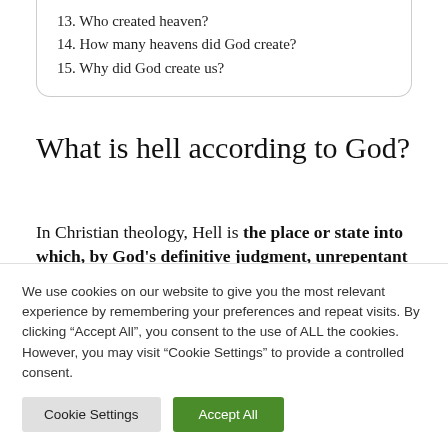13. Who created heaven?
14. How many heavens did God create?
15. Why did God create us?
What is hell according to God?
In Christian theology, Hell is the place or state into which, by God’s definitive judgment, unrepentant sinners pass in the
We use cookies on our website to give you the most relevant experience by remembering your preferences and repeat visits. By clicking “Accept All”, you consent to the use of ALL the cookies. However, you may visit “Cookie Settings” to provide a controlled consent.